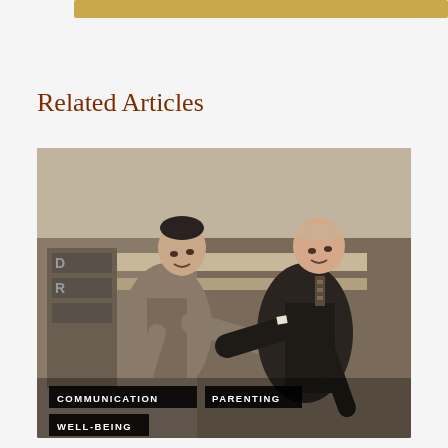[Figure (other): Gold decorative bar at top of page]
Related Articles
[Figure (photo): Black and white vintage photograph of two men in suits appearing to argue or gesture dramatically at each other, with overlaid category tags: COMMUNICATION, PARENTING, WELL-BEING]